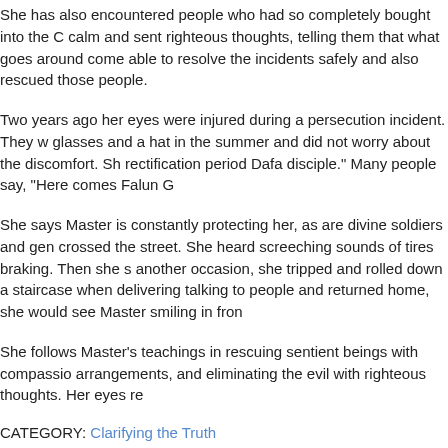She has also encountered people who had so completely bought into the C calm and sent righteous thoughts, telling them that what goes around come able to resolve the incidents safely and also rescued those people.
Two years ago her eyes were injured during a persecution incident. They w glasses and a hat in the summer and did not worry about the discomfort. Sh rectification period Dafa disciple." Many people say, "Here comes Falun G
She says Master is constantly protecting her, as are divine soldiers and gen crossed the street. She heard screeching sounds of tires braking. Then she s another occasion, she tripped and rolled down a staircase when delivering talking to people and returned home, she would see Master smiling in fron
She follows Master's teachings in rescuing sentient beings with compassio arrangements, and eliminating the evil with righteous thoughts. Her eyes re
CATEGORY: Clarifying the Truth